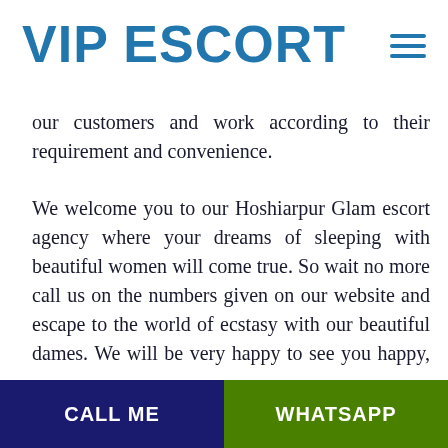VIP ESCORT
our customers and work according to their requirement and convenience.
We welcome you to our Hoshiarpur Glam escort agency where your dreams of sleeping with beautiful women will come true. So wait no more call us on the numbers given on our website and escape to the world of ecstasy with our beautiful dames. We will be very happy to see you happy, because this is the only reason we are in this business.
We are proud to present to you our portfolio. All of the girls
CALL ME   WHATSAPP